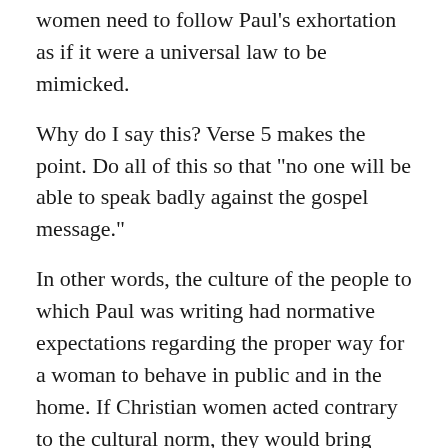women need to follow Paul's exhortation as if it were a universal law to be mimicked.
Why do I say this? Verse 5 makes the point. Do all of this so that "no one will be able to speak badly against the gospel message."
In other words, the culture of the people to which Paul was writing had normative expectations regarding the proper way for a woman to behave in public and in the home. If Christian women acted contrary to the cultural norm, they would bring discredit on the Gospel and would cause the unbelieving public to think that Christianity was a bad religion that should be shunned.
First Peter 2:2 makes a similar point when writing to